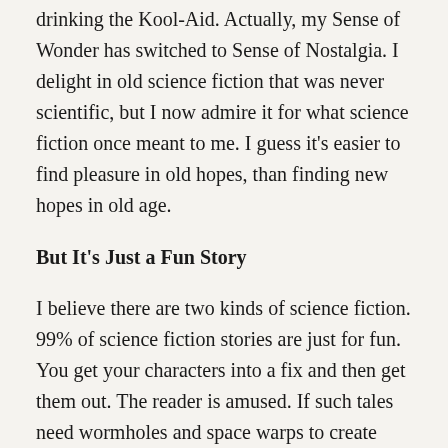drinking the Kool-Aid. Actually, my Sense of Wonder has switched to Sense of Nostalgia. I delight in old science fiction that was never scientific, but I now admire it for what science fiction once meant to me. I guess it's easier to find pleasure in old hopes, than finding new hopes in old age.
But It's Just a Fun Story
I believe there are two kinds of science fiction. 99% of science fiction stories are just for fun. You get your characters into a fix and then get them out. The reader is amused. If such tales need wormholes and space warps to create exciting make-believe adventures, far-out. And that's cool. And if Baxter